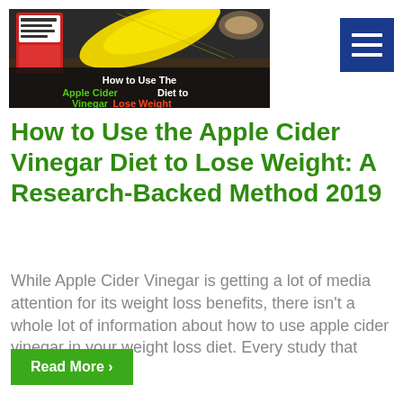[Figure (illustration): Promotional banner image for Apple Cider Vinegar Diet showing product packaging, measuring tape, and text overlay: 'How to Use The Apple Cider Vinegar Diet to Lose Weight']
How to Use the Apple Cider Vinegar Diet to Lose Weight: A Research-Backed Method 2019
While Apple Cider Vinegar is getting a lot of media attention for its weight loss benefits, there isn't a whole lot of information about how to use apple cider vinegar in your weight loss diet. Every study that comes out ...
Read More ›